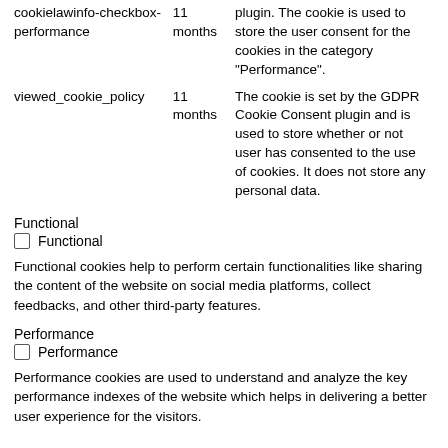| Cookie | Duration | Description |
| --- | --- | --- |
| cookielawinfo-checkbox-performance | 11 months | plugin. The cookie is used to store the user consent for the cookies in the category "Performance". |
| viewed_cookie_policy | 11 months | The cookie is set by the GDPR Cookie Consent plugin and is used to store whether or not user has consented to the use of cookies. It does not store any personal data. |
Functional
Functional
Functional cookies help to perform certain functionalities like sharing the content of the website on social media platforms, collect feedbacks, and other third-party features.
Performance
Performance
Performance cookies are used to understand and analyze the key performance indexes of the website which helps in delivering a better user experience for the visitors.